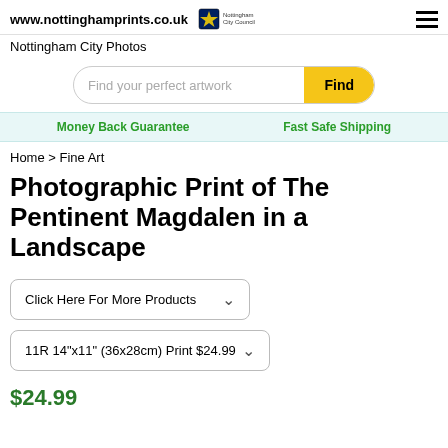www.nottinghamprints.co.uk
Nottingham City Photos
[Figure (screenshot): Search bar with placeholder text 'Find your perfect artwork' and yellow 'Find' button]
Money Back Guarantee    Fast Safe Shipping
Home > Fine Art
Photographic Print of The Pentinent Magdalen in a Landscape
[Figure (screenshot): Dropdown selector labeled 'Click Here For More Products']
[Figure (screenshot): Dropdown selector showing '11R 14"x11" (36x28cm) Print $24.99']
$24.99